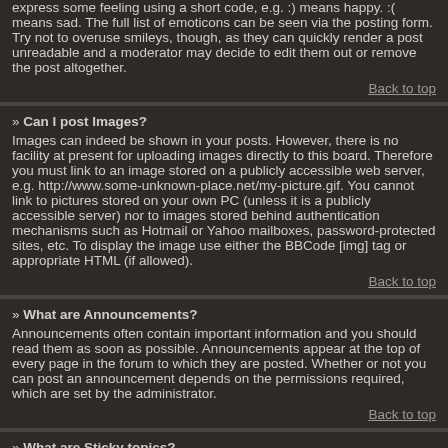express some feeling using a short code, e.g. :) means happy, :( means sad. The full list of emoticons can be seen via the posting form. Try not to overuse smileys, though, as they can quickly render a post unreadable and a moderator may decide to edit them out or remove the post altogether.
Back to top
» Can I post Images?
Images can indeed be shown in your posts. However, there is no facility at present for uploading images directly to this board. Therefore you must link to an image stored on a publicly accessible web server, e.g. http://www.some-unknown-place.net/my-picture.gif. You cannot link to pictures stored on your own PC (unless it is a publicly accessible server) nor to images stored behind authentication mechanisms such as Hotmail or Yahoo mailboxes, password-protected sites, etc. To display the image use either the BBCode [img] tag or appropriate HTML (if allowed).
Back to top
» What are Announcements?
Announcements often contain important information and you should read them as soon as possible. Announcements appear at the top of every page in the forum to which they are posted. Whether or not you can post an announcement depends on the permissions required, which are set by the administrator.
Back to top
» What are Sticky topics?